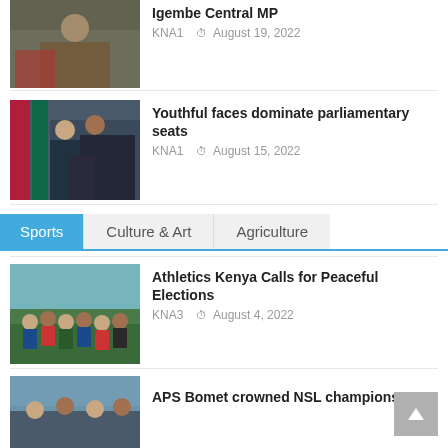[Figure (photo): Group of people outdoors, man in red jacket prominent]
Igembe Central MP
KNA1  August 19, 2022
[Figure (photo): Group of people at podium with Kenyan flag]
Youthful faces dominate parliamentary seats
KNA1  August 15, 2022
Sports
Culture & Art
Agriculture
[Figure (photo): Group photo of athletes on a green field]
Athletics Kenya Calls for Peaceful Elections
KNA3  August 4, 2022
[Figure (photo): Group of people outdoors]
APS Bomet crowned NSL champions,